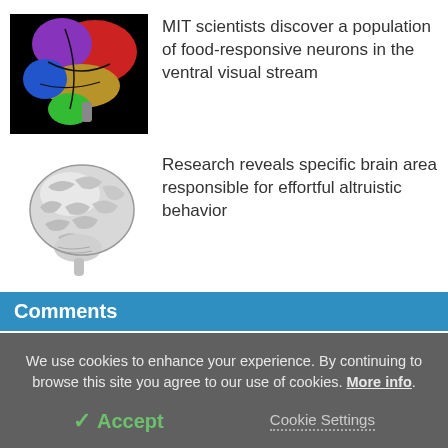[Figure (illustration): Colorful segmented human brain illustration with red, purple, gold, blue, and green regions on black background]
MIT scientists discover a population of food-responsive neurons in the ventral visual stream
[Figure (illustration): Grayscale 3D rendered human brain illustration]
Research reveals specific brain area responsible for effortful altruistic behavior
Comments
We use cookies to enhance your experience. By continuing to browse this site you agree to our use of cookies. More info.
✓ Accept
Cookie Settings